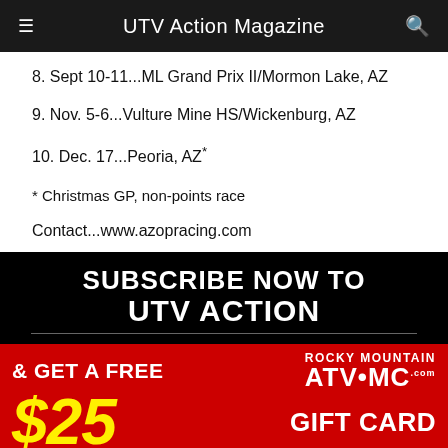UTV Action Magazine
8. Sept 10-11...ML Grand Prix II/Mormon Lake, AZ
9. Nov. 5-6...Vulture Mine HS/Wickenburg, AZ
10. Dec. 17...Peoria, AZ*
* Christmas GP, non-points race
Contact...www.azopracing.com
[Figure (infographic): Advertisement: Subscribe Now to UTV Action and get a free $25 Rocky Mountain ATV MC Gift Card]